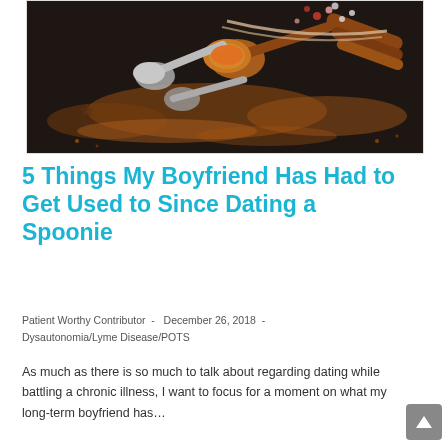[Figure (photo): Overhead dark-background photo of various spoons with colourful ground spices (orange, red paprika/chili powder), whole peppercorns, cinnamon sticks, and scattered spice powder on a dark slate surface.]
5 Things My Boyfriend Has Had to Get Used to Since Dating a Spoonie
Patient Worthy Contributor  -  December 26, 2018  -  Dysautonomia/Lyme Disease/POTS
As much as there is so much to talk about regarding dating while battling a chronic illness, I want to focus for a moment on what my long-term boyfriend has…